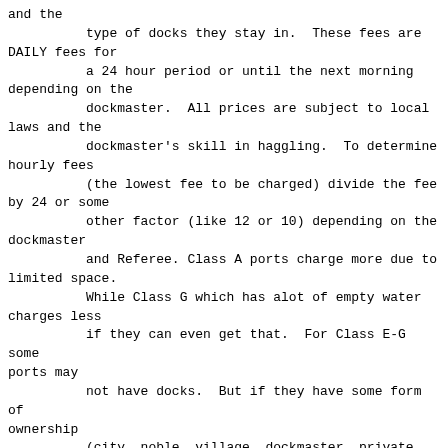and the
          type of docks they stay in.  These fees are DAILY fees for
          a 24 hour period or until the next morning depending on the
          dockmaster.  All prices are subject to local laws and the
          dockmaster's skill in haggling.  To determine hourly fees
          (the lowest fee to be charged) divide the fee by 24 or some
          other factor (like 12 or 10) depending on the dockmaster
          and Referee. Class A ports charge more due to limited space.
          While Class G which has alot of empty water charges less
          if they can even get that.  For Class E-G some ports may
          not have docks.  But if they have some form of ownership
          (city, noble, village, dockmaster, private citizen, etc.)
          he may charge a fee listed in the table for a ship to stay
          in the water.  This fee only allows docking it does not
          give protection to the ship.  For that the captain will
          have to haggle with the dockmaster.  These
fees apply.